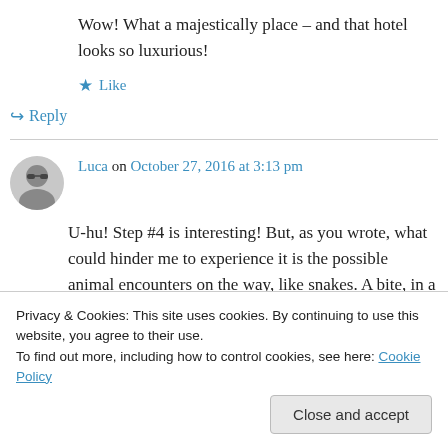Wow! What a majestically place – and that hotel looks so luxurious!
★ Like
↪ Reply
Luca on October 27, 2016 at 3:13 pm
U-hu! Step #4 is interesting! But, as you wrote, what could hinder me to experience it is the possible animal encounters on the way, like snakes. A bite, in a dark night, in a country so...
Privacy & Cookies: This site uses cookies. By continuing to use this website, you agree to their use.
To find out more, including how to control cookies, see here: Cookie Policy